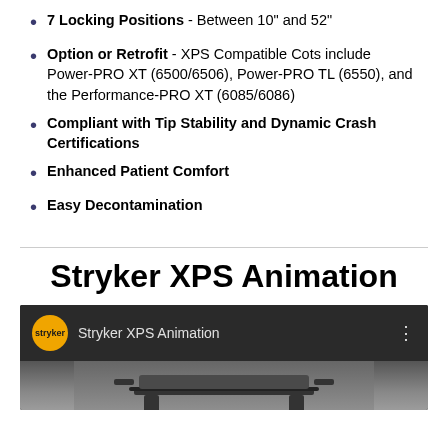7 Locking Positions - Between 10" and 52"
Option or Retrofit - XPS Compatible Cots include Power-PRO XT (6500/6506), Power-PRO TL (6550), and the Performance-PRO XT (6085/6086)
Compliant with Tip Stability and Dynamic Crash Certifications
Enhanced Patient Comfort
Easy Decontamination
Stryker XPS Animation
[Figure (screenshot): YouTube-style video player screenshot showing Stryker XPS Animation video with Stryker channel icon (yellow circle with 'stryker' text) and a preview of a medical cot/stretcher]